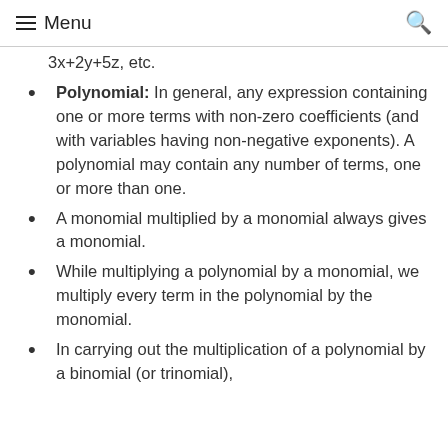Menu
3x+2y+5z, etc.
Polynomial: In general, any expression containing one or more terms with non-zero coefficients (and with variables having non-negative exponents). A polynomial may contain any number of terms, one or more than one.
A monomial multiplied by a monomial always gives a monomial.
While multiplying a polynomial by a monomial, we multiply every term in the polynomial by the monomial.
In carrying out the multiplication of a polynomial by a binomial (or trinomial),